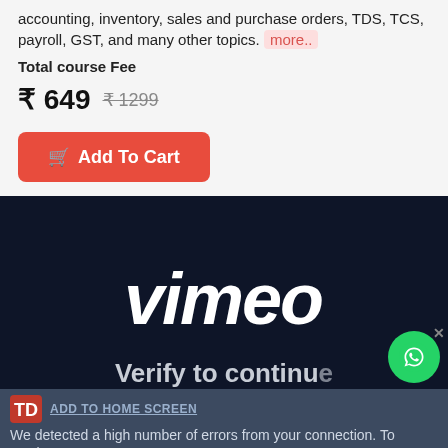accounting, inventory, sales and purchase orders, TDS, TCS, payroll, GST, and many other topics. more..
Total course Fee
₹ 649  ₹ 1299
Add To Cart
[Figure (screenshot): Vimeo player screenshot showing dark navy background with white Vimeo logo and 'Verify to continue' text overlay, with a WhatsApp floating button, a TD logo, 'ADD TO HOME SCREEN' link, and error message at bottom.]